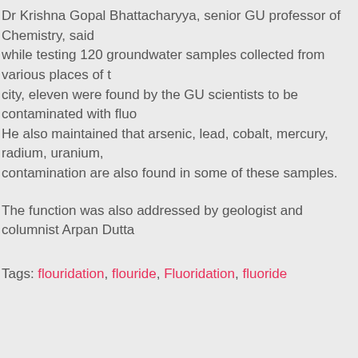Dr Krishna Gopal Bhattacharyya, senior GU professor of Chemistry, said while testing 120 groundwater samples collected from various places of the city, eleven were found by the GU scientists to be contaminated with fluoride. He also maintained that arsenic, lead, cobalt, mercury, radium, uranium, contamination are also found in some of these samples.
The function was also addressed by geologist and columnist Arpan Dutta
Tags: flouridation, flouride, Fluoridation, fluoride